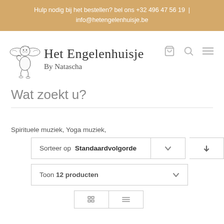Hulp nodig bij het bestellen? bel ons +32 496 47 56 19  |  info@hetengelenhuisje.be
[Figure (logo): Het Engelenhuisje logo with cherub angel illustration and cursive script brand name 'Het Engelenhuisje By Natascha']
Wat zoekt u?
Spirituele muziek, Yoga muziek,
Sorteer op Standaardvolgorde
Toon 12 producten